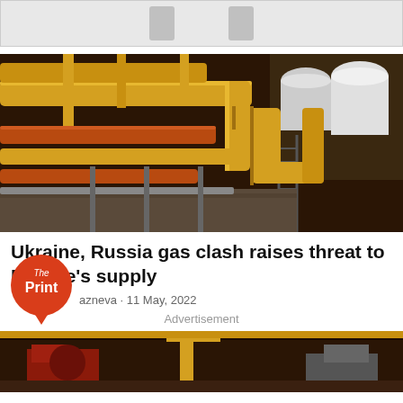[Figure (photo): Top strip with placeholder/greyed out icons on light gray background]
[Figure (photo): Yellow and orange industrial gas pipelines at a facility, with white storage tanks in the background]
Ukraine, Russia gas clash raises threat to Europe's supply
azneva - 11 May, 2022
Advertisement
[Figure (photo): Industrial gas facility interior with yellow equipment and red machinery visible]